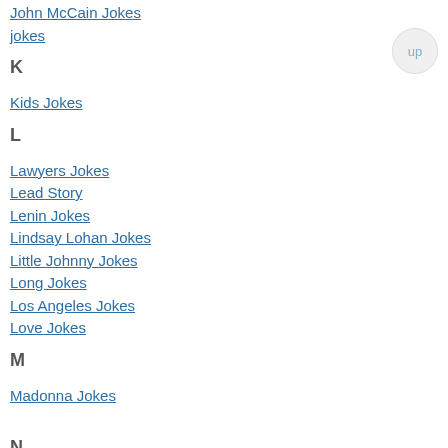John McCain Jokes
jokes
K
Kids Jokes
L
Lawyers Jokes
Lead Story
Lenin Jokes
Lindsay Lohan Jokes
Little Johnny Jokes
Long Jokes
Los Angeles Jokes
Love Jokes
M
Madonna Jokes
N